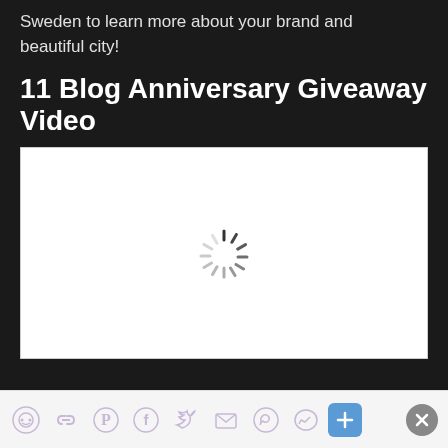Sweden to learn more about your brand and beautiful city!
11 Blog Anniversary Giveaway Video
[Figure (screenshot): Embedded video player showing a white loading screen with a spinning loading indicator in the center]
[Figure (infographic): Social share bar with icons for Reddit, copy link, Pinterest, Facebook, Twitter, email, WhatsApp, Messenger, plus button, and a close (x) button]